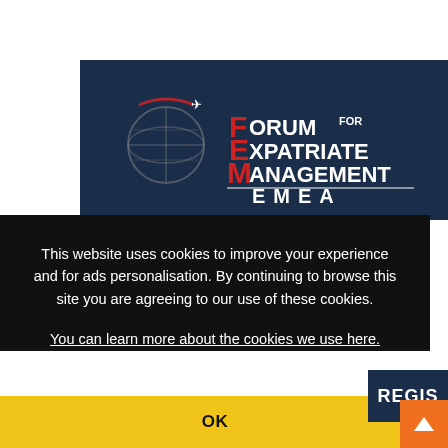[Figure (logo): Forum for Expatriate Management EMEA logo on dark navy background. Globe icon with airplane, red and white letters F, E, M on left side of text. Text reads FORUM FOR EXPATRIATE MANAGEMENT in white with red accent letters, and EMEA below a horizontal rule.]
This website uses cookies to improve your experience and for ads personalisation. By continuing to browse this site you are agreeing to our use of these cookies.
You can learn more about the cookies we use here.
OK